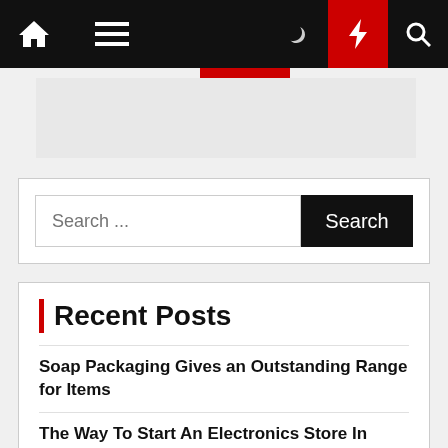Navigation bar with home, menu, moon, bolt, and search icons
[Figure (screenshot): Advertisement placeholder banner, light gray background]
Search ...
Recent Posts
Soap Packaging Gives an Outstanding Range for Items
The Way To Start An Electronics Store In India
3 #CX Advantages You Can Steal From Corporate Giants